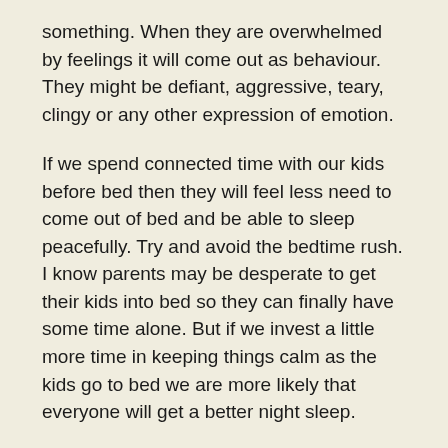something. When they are overwhelmed by feelings it will come out as behaviour. They might be defiant, aggressive, teary, clingy or any other expression of emotion.
If we spend connected time with our kids before bed then they will feel less need to come out of bed and be able to sleep peacefully. Try and avoid the bedtime rush. I know parents may be desperate to get their kids into bed so they can finally have some time alone. But if we invest a little more time in keeping things calm as the kids go to bed we are more likely that everyone will get a better night sleep.
Spend time having snuggles and talking about the day. It is a good idea to add gratefulness to your bedtime routine. Even though things might be scary, there are always things to be grateful for. Everyone, including parents can take turns saying what they are grateful for. This will turn their